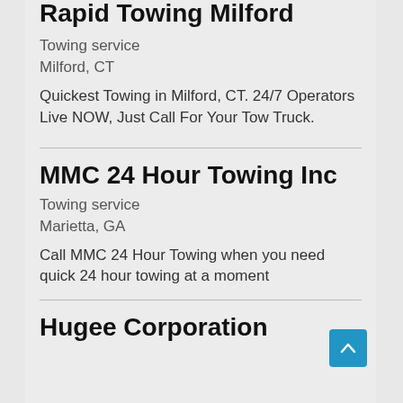Rapid Towing Milford
Towing service
Milford, CT
Quickest Towing in Milford, CT. 24/7 Operators Live NOW, Just Call For Your Tow Truck.
MMC 24 Hour Towing Inc
Towing service
Marietta, GA
Call MMC 24 Hour Towing when you need quick 24 hour towing at a moment
Hugee Corporation